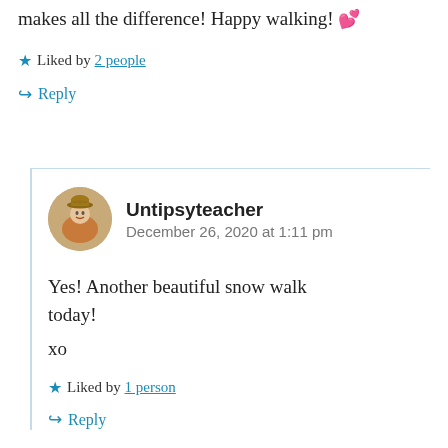makes all the difference! Happy walking! 💕
★ Liked by 2 people
↪ Reply
Untipsyteacher
December 26, 2020 at 1:11 pm
Yes! Another beautiful snow walk today!

xo
★ Liked by 1 person
↪ Reply